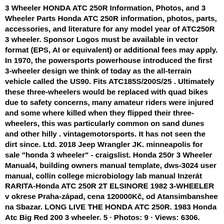3 Wheeler HONDA ATC 250R Information, Photos, and 3 Wheeler Parts Honda ATC 250R information, photos, parts, accessories, and literature for any model year of ATC250R 3 wheeler. Sponsor Logos must be available in vector format (EPS, AI or equivalent) or additional fees may apply. In 1970, the powersports powerhouse introduced the first 3-wheeler design we think of today as the all-terrain vehicle called the US90. Fits ATC185S/200S/25 . Ultimately these three-wheelers would be replaced with quad bikes due to safety concerns, many amateur riders were injured and some where killed when they flipped their three-wheelers, this was particularly common on sand dunes and other hilly . vintagemotorsports. It has not seen the dirt since. Ltd. 2018 Jeep Wrangler JK. minneapolis for sale "honda 3 wheeler" - craigslist. Honda 250r 3 Wheeler Manual4, building owners manual template, dws-3024 user manual, collin college microbiology lab manual Inzerát RARITA-Honda ATC 250R 2T ELSINORE 1982 3-WHEELER v okrese Praha-západ, cena 120000Kč, od Atansimbanshee na Sbazar. LONG LIVE THE HONDA ATC 250R. 1983 Honda Atc Big Red 200 3 wheeler. 5 · Photos: 9 · Views: 6306. Blessed is the man that maketh the Lord his trust! These consist of 1 Honda upcoming bike and 23 new Honda bikes in India. $900 1985 Honda 250R three wheeler 1985 Honda 250 R three wheeler 2 stroke, very fast bike. com always has the largest selection of New or Used Honda Atc 250r Three Wheeler Motorcycles for sale over days. 72mm bore. 2021